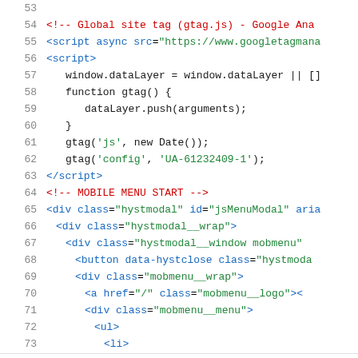[Figure (screenshot): Code editor screenshot showing HTML/JavaScript source code with line numbers 53-73. Lines display HTML comments, script tags, JavaScript code for Google Analytics (gtag), and HTML div/button/ul/li elements with class and id attributes. Syntax highlighted with red for comments/tags, blue for keywords, green for string values.]